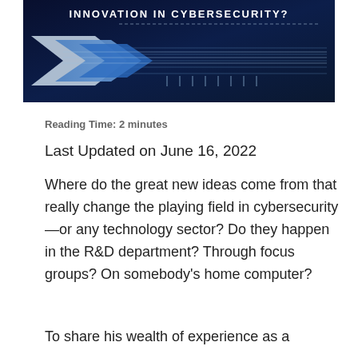[Figure (illustration): Banner image with dark blue background, blue arrow graphics, circuit/tech lines, and white bold text reading 'INNOVATION IN CYBERSECURITY?']
Reading Time: 2 minutes
Last Updated on June 16, 2022
Where do the great new ideas come from that really change the playing field in cybersecurity—or any technology sector? Do they happen in the R&D department? Through focus groups? On somebody's home computer?
To share his wealth of experience as a